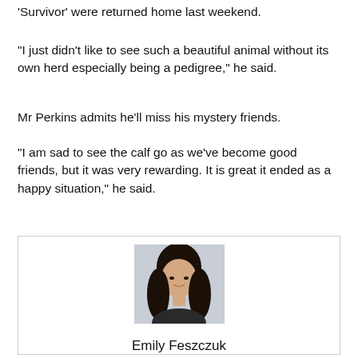'Survivor' were returned home last weekend.
“I just didn’t like to see such a beautiful animal without its own herd especially being a pedigree,” he said.
Mr Perkins admits he’ll miss his mystery friends.
“I am sad to see the calf go as we’ve become good friends, but it was very rewarding. It is great it ended as a happy situation,” he said.
[Figure (photo): Portrait photo of Emily Feszczuk, a young woman with long dark hair, wearing a dark sleeveless top, smiling against a light grey background.]
Emily Feszczuk